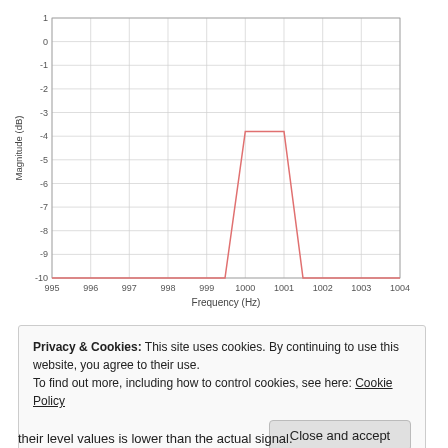[Figure (continuous-plot): A line plot showing magnitude (dB) vs frequency (Hz). The curve rises sharply from near -10 dB around 999.5 Hz to a peak of about -3.8 dB at 1000 Hz, stays flat to 1001 Hz, then drops sharply back down. The line is salmon/red colored on a white background with light gray gridlines.]
Privacy & Cookies: This site uses cookies. By continuing to use this website, you agree to their use.
To find out more, including how to control cookies, see here: Cookie Policy
Close and accept
their level values is lower than the actual signal.